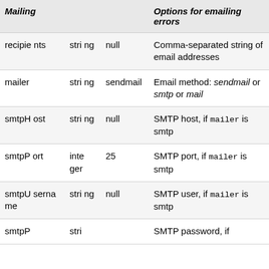| Mailing |  |  | Options for emailing errors |
| --- | --- | --- | --- |
| recipients | string | null | Comma-separated string of email addresses |
| mailer | string | sendmail | Email method: sendmail or smtp or mail |
| smtpHost | string | null | SMTP host, if mailer is smtp |
| smtpPort | integer | 25 | SMTP port, if mailer is smtp |
| smtpUsername | string | null | SMTP user, if mailer is smtp |
| smtpP | stri |  | SMTP password, if |